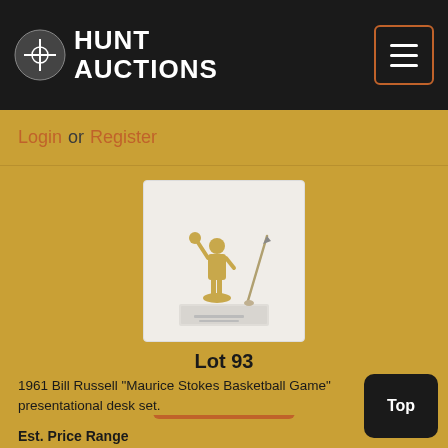HUNT AUCTIONS
Login or Register
[Figure (photo): Gold-colored basketball player figurine desk set on white marble base with a pen holder, displayed against white background]
Lot 93
VIEW ITEM
1961 Bill Russell "Maurice Stokes Basketball Game" presentational desk set.
Est. Price Range